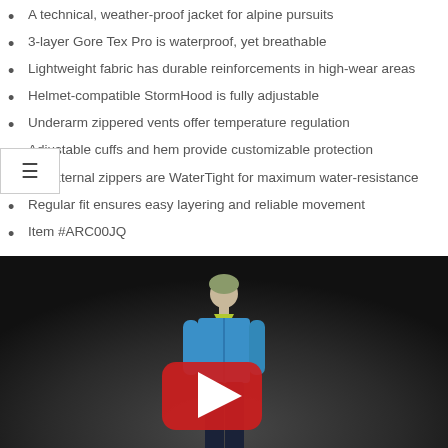A technical, weather-proof jacket for alpine pursuits
3-layer Gore Tex Pro is waterproof, yet breathable
Lightweight fabric has durable reinforcements in high-wear areas
Helmet-compatible StormHood is fully adjustable
Underarm zippered vents offer temperature regulation
Adjustable cuffs and hem provide customizable protection
All external zippers are WaterTight for maximum water-resistance
Regular fit ensures easy layering and reliable movement
Item #ARC00JQ
[Figure (screenshot): YouTube video thumbnail showing a person wearing a blue Arc'teryx jacket against a dark background, with a YouTube play button overlay]